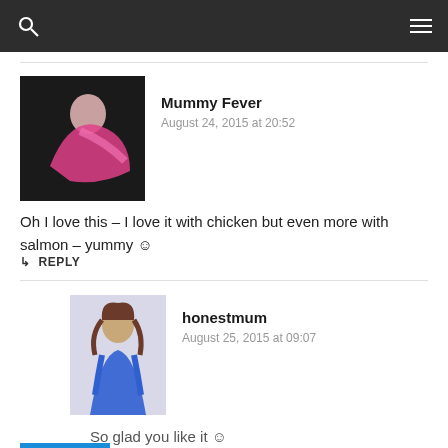Mummy Fever
August 24, 2015 at 20:52
Oh I love this – I love it with chicken but even more with salmon – yummy 🙂
↳ REPLY
honestmum
August 25, 2015 at 09:07
So glad you like it 🙂
↳ REPLY